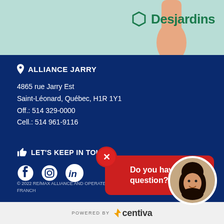[Figure (logo): Desjardins logo with hexagon icon and green text in top right of banner]
ALLIANCE JARRY
4865 rue Jarry Est
Saint-Léonard, Québec, H1R 1Y1
Off.: 514 329-0000
Cell.: 514 961-9116
LET'S KEEP IN TOUCH
[Figure (infographic): Social media icons: Facebook, Instagram, LinkedIn]
[Figure (photo): Circular headshot photo of a woman with curly dark hair, smiling]
Do you have a question?
© 2022 RE/MAX ALLIANCE AND OPERATED FRANCH
POWERED BY ⚡ centiva